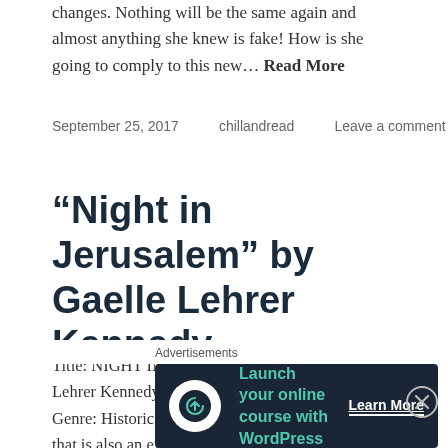changes. Nothing will be the same again and almost anything she knew is fake! How is she going to comply to this new… Read More
September 25, 2017    chillandread    Leave a comment
“Night in Jerusalem” by Gaelle Lehrer Kennedy
Title: NIGHT IN JERUSALEM Author: Gaelle Lehrer Kennedy Publisher: PKZ Inc. Pages: 246 Genre: Historical Romance A bewitching love story that is also an extraordinary portrait of Jerusalem, its faith, spirituality, identity, and kaleidoscope of clashing beliefs. Night in Jerusalem is a novel of mystery.
Advertisements
[Figure (other): Advertisement banner: Launch your online course with WordPress. Learn More button. Dark background with teal text and white icon.]